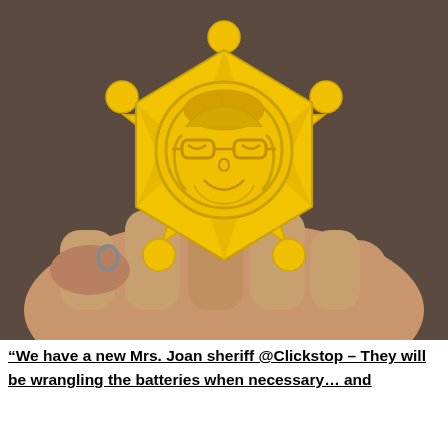[Figure (photo): A hand holding a yellow plastic sheriff star badge with a cartoon face (woman with glasses and hair) embossed in the center circle. The badge has 6 rounded points. Background is blurred dark carpet.]
“We have a new Mrs. Joan sheriff @Clickstop – They will be wrangling the batteries when necessary… and